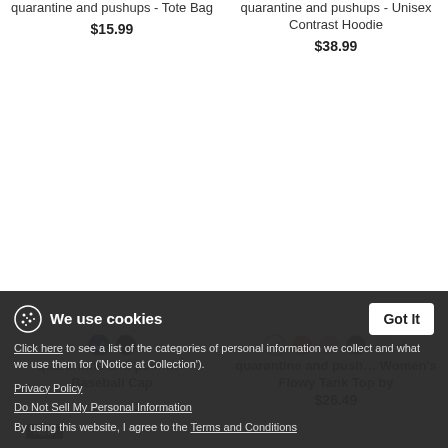quarantine and pushups - Tote Bag
$15.99
quarantine and pushups - Unisex Contrast Hoodie
$38.99
quarantine and pushups - Baseball Cap
quarantine and pushups - Women's Flowy Tank Top by
$26.49
We use cookies
Click here to see a list of the categories of personal information we collect and what we use them for ('Notice at Collection').
Privacy Policy
Do Not Sell My Personal Information
By using this website, I agree to the Terms and Conditions